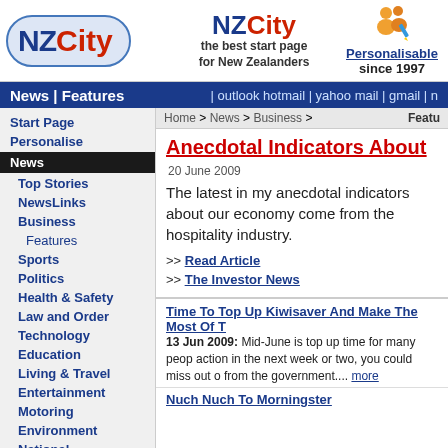[Figure (logo): NZCity logo - oval shaped with NZ in dark blue and City in red, on light blue background]
[Figure (logo): NZCity logo - text with NZ blue and City red, tagline: the best start page for New Zealanders]
[Figure (illustration): Cartoon people icon (orange figures)]
Personalisable since 1997
News | Features | outlook hotmail | yahoo mail | gmail | n
Home > News > Business > Featu
Anecdotal Indicators About
20 June 2009
The latest in my anecdotal indicators about our economy come from the hospitality industry.
>> Read Article
>> The Investor News
Start Page
Personalise
News
Top Stories
NewsLinks
Business
Features
Sports
Politics
Health & Safety
Law and Order
Technology
Education
Living & Travel
Entertainment
Motoring
Environment
National
Time To Top Up Kiwisaver And Make The Most Of T
13 Jun 2009: Mid-June is top up time for many peop action in the next week or two, you could miss out o from the government.... more
Nuch Nuch To Morningster